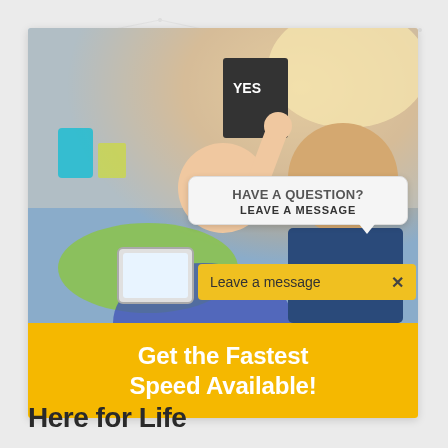[Figure (screenshot): Advertisement screenshot showing a father and daughter celebrating together, with a chat bubble overlay reading 'HAVE A QUESTION? LEAVE A MESSAGE' and a yellow input bar reading 'Leave a message X'. Below the photo is a yellow banner with white text: 'Get the Fastest Speed Available!']
Here for Life